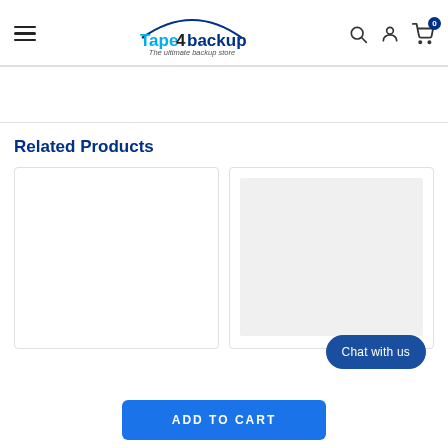Tape4backup – The ultimate backup store | Navigation header with hamburger menu, search, account, and cart icons
Related Products
[Figure (screenshot): Two related product cards shown side by side. Left card is empty white, right card has a light gray image placeholder area.]
[Figure (screenshot): ADD TO CART button and Chat with us button at the bottom of the page.]